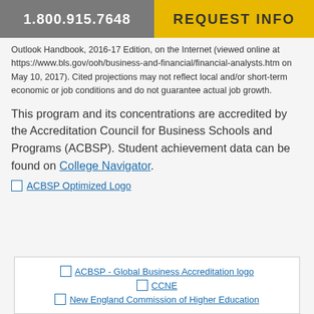1.800.915.7648 | REQUEST INFO
Outlook Handbook, 2016-17 Edition, on the Internet (viewed online at https://www.bls.gov/ooh/business-and-financial/financial-analysts.htm on May 10, 2017). Cited projections may not reflect local and/or short-term economic or job conditions and do not guarantee actual job growth.
This program and its concentrations are accredited by the Accreditation Council for Business Schools and Programs (ACBSP). Student achievement data can be found on College Navigator.
[Figure (logo): ACBSP Optimized Logo (broken image placeholder with link text)]
[Figure (logo): Box containing three logo placeholders: ACBSP - Global Business Accreditation logo, CCNE, New England Commission of Higher Education]